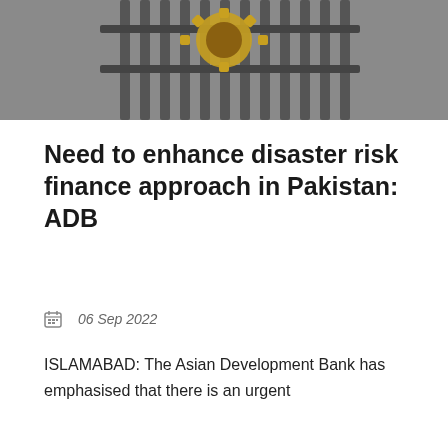[Figure (photo): Top portion of a building exterior with metal bars/gate and a golden gear/cog emblem visible at the top center, grey tones]
Need to enhance disaster risk finance approach in Pakistan: ADB
06 Sep 2022
ISLAMABAD: The Asian Development Bank has emphasised that there is an urgent
[Figure (photo): Aerial view of a Pakistani city showing a white mosque with blue-tiled dome surrounded by dense urban buildings and rooftops in sandy/brown tones]